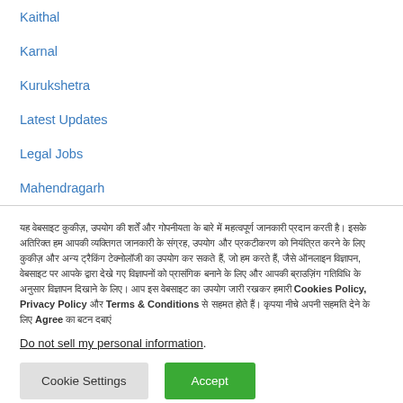Kaithal
Karnal
Kurukshetra
Latest Updates
Legal Jobs
Mahendragarh
यह वेबसाइट कुकीज़ का उपयोग करती है। कुकीज़ को Cookies Policy, Privacy Policy और Terms & Conditions के अनुसार उपयोग किया जाता है। इस वेबसाइट का उपयोग जारी रखकर आप Agree का बटन दबाएं
Do not sell my personal information.
Cookie Settings | Accept